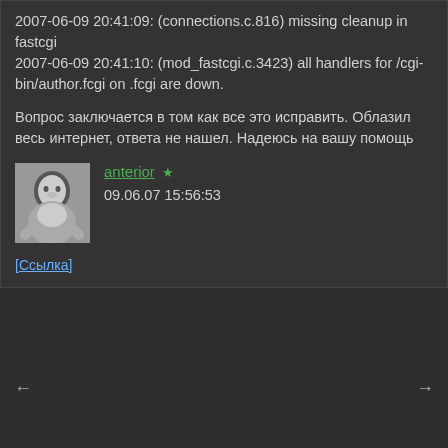2007-06-09 20:41:09: (connections.c.816) missing cleanup in fastcgi
2007-06-09 20:41:10: (mod_fastcgi.c.3423) all handlers for /cgi-bin/author.fcgi on .fcgi are down.
Вопрос заключается в том как все это исправить. Облазил весь интернет, ответа не нашел. Надеюсь на вашу помощь
anterior ★
09.06.07 15:56:53
[Ссылка]
← →